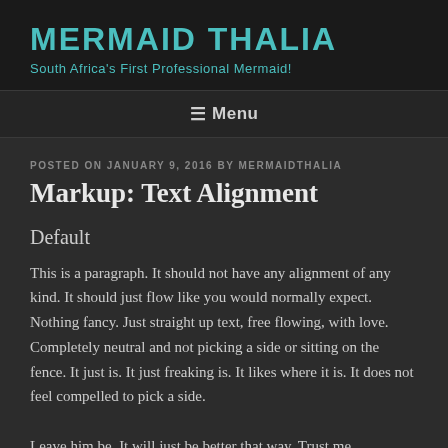MERMAID THALIA
South Africa's First Professional Mermaid!
≡ Menu
POSTED ON JANUARY 9, 2016 BY MERMAIDTHALIA
Markup: Text Alignment
Default
This is a paragraph. It should not have any alignment of any kind. It should just flow like you would normally expect. Nothing fancy. Just straight up text, free flowing, with love. Completely neutral and not picking a side or sitting on the fence. It just is. It just freaking is. It likes where it is. It does not feel compelled to pick a side. Leave him be. It will just be better that way. Trust me.